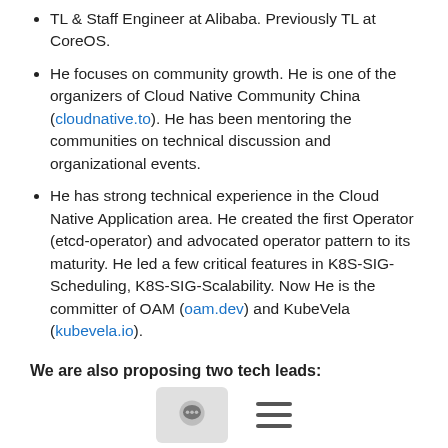TL & Staff Engineer at Alibaba. Previously TL at CoreOS.
He focuses on community growth. He is one of the organizers of Cloud Native Community China (cloudnative.to). He has been mentoring the communities on technical discussion and organizational events.
He has strong technical experience in the Cloud Native Application area. He created the first Operator (etcd-operator) and advocated operator pattern to its maturity. He led a few critical features in K8S-SIG-Scheduling, K8S-SIG-Scalability. Now He is the committer of OAM (oam.dev) and KubeVela (kubevela.io).
We are also proposing two tech leads:
Alex Jones, now CIVO before JPMC
Alex until recently worked as a VP of SRE at JPMC and is now working as a principal engineer role at CIVO cloud. His also